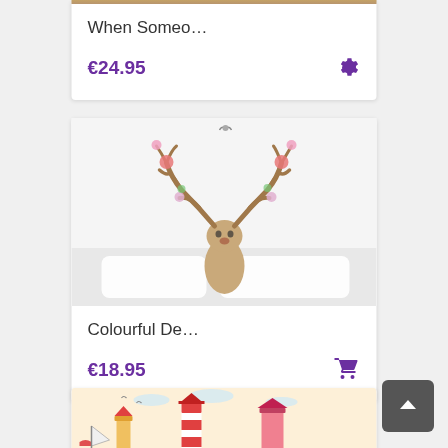[Figure (screenshot): Top product card showing a partial product image at the top, truncated. Product title 'When Someo…', price €24.95 with a gear/settings icon.]
When Someo…
€24.95
[Figure (photo): Colourful deer head wall sticker with floral antlers displayed above a bed in a white bedroom setting.]
Colourful De…
€18.95
[Figure (illustration): Partial view of a lighthouse themed wall sticker product image with colorful lighthouses and sailboats.]